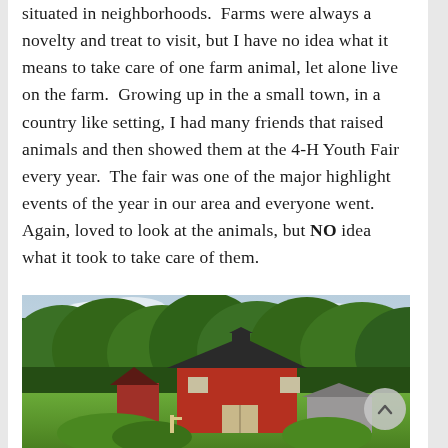situated in neighborhoods.  Farms were always a novelty and treat to visit, but I have no idea what it means to take care of one farm animal, let alone live on the farm.  Growing up in the a small town, in a country like setting, I had many friends that raised animals and then showed them at the 4-H Youth Fair every year.  The fair was one of the major highlight events of the year in our area and everyone went.  Again, loved to look at the animals, but NO idea what it took to take care of them.
[Figure (photo): A red barn with a black roof situated in front of a dense tree line, with a green field in the foreground and a partly cloudy sky above.]